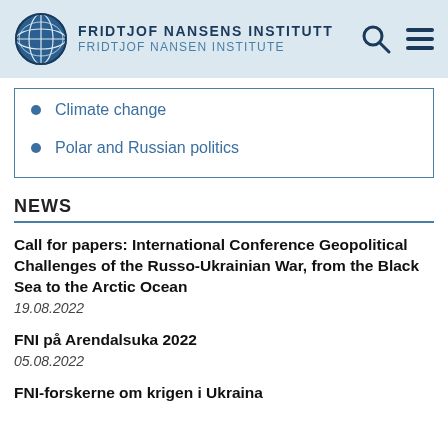FRIDTJOF NANSENS INSTITUTT / FRIDTJOF NANSEN INSTITUTE
Climate change
Polar and Russian politics
NEWS
Call for papers: International Conference Geopolitical Challenges of the Russo-Ukrainian War, from the Black Sea to the Arctic Ocean
19.08.2022
FNI på Arendalsuka 2022
05.08.2022
FNI-forskerne om krigen i Ukraina